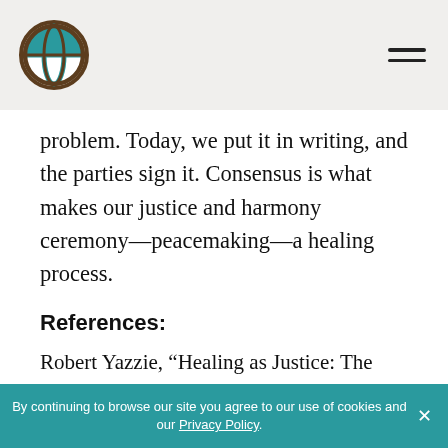[Logo] [Navigation menu icon]
problem. Today, we put it in writing, and the parties sign it. Consensus is what makes our justice and harmony ceremony—peacemaking—a healing process.
References:
Robert Yazzie, “Healing as Justice: The Navajo Response to Crime,” in Justice as Healing: Indigenous Ways, ed. Wanda D. McCaslin (Living Justice Press: 2005), 123, 125–126, 127, 128.
By continuing to browse our site you agree to our use of cookies and our Privacy Policy. ×